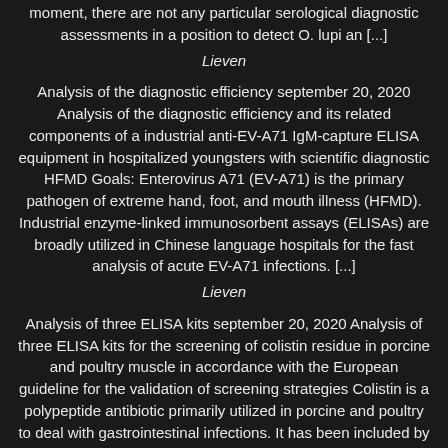moment, there are not any particular serological diagnostic assessments in a position to detect O. lupi an [...]
Lieven
Analysis of the diagnostic efficiency september 20, 2020 Analysis of the diagnostic efficiency and its related components of a industrial anti-EV-A71 IgM-capture ELISA equipment in hospitalized youngsters with scientific diagnostic HFMD Goals: Enterovirus A71 (EV-A71) is the primary pathogen of extreme hand, foot, and mouth illness (HFMD). Industrial enzyme-linked immunosorbent assays (ELISAs) are broadly utilized in Chinese language hospitals for the fast analysis of acute EV-A71 infections. [...]
Lieven
Analysis of three ELISA kits september 20, 2020 Analysis of three ELISA kits for the screening of colistin residue in porcine and poultry muscle in accordance with the European guideline for the validation of screening strategies Colistin is a polypeptide antibiotic primarily utilized in porcine and poultry to deal with gastrointestinal infections. It has been included by the World Well being Organisation (WHO)